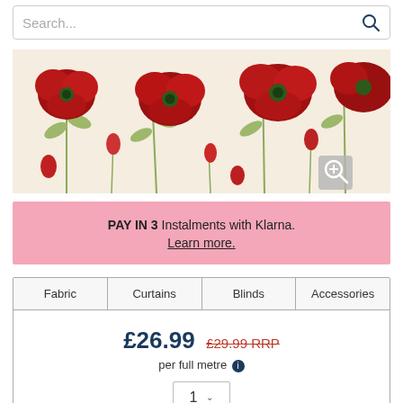Search...
[Figure (photo): Fabric swatch showing red poppy flowers with green stems and leaves on a cream/beige background. A zoom/magnify icon is visible in the bottom right corner.]
PAY IN 3 Instalments with Klarna. Learn more.
| Fabric | Curtains | Blinds | Accessories |
| --- | --- | --- | --- |
£26.99 £29.99 RRP per full metre
1